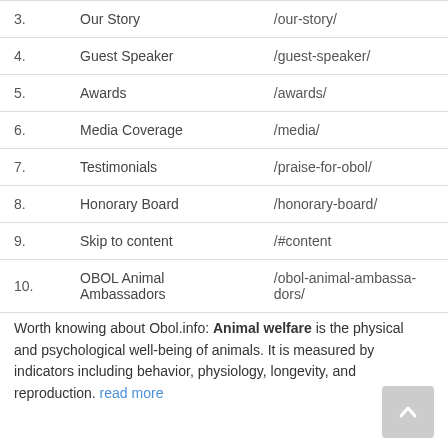| # | Name | URL |
| --- | --- | --- |
| 3. | Our Story | /our-story/ |
| 4. | Guest Speaker | /guest-speaker/ |
| 5. | Awards | /awards/ |
| 6. | Media Coverage | /media/ |
| 7. | Testimonials | /praise-for-obol/ |
| 8. | Honorary Board | /honorary-board/ |
| 9. | Skip to content | /#content |
| 10. | OBOL Animal Ambassadors | /obol-animal-ambassadors/ |
Worth knowing about Obol.info: Animal welfare is the physical and psychological well-being of animals. It is measured by indicators including behavior, physiology, longevity, and reproduction. read more